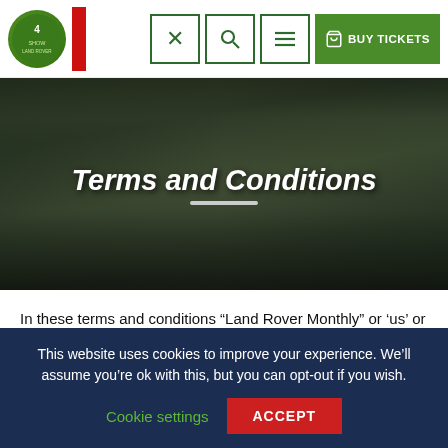[Figure (screenshot): Website navigation bar with logo, close (X) button, search icon, hamburger menu icon, and green BUY TICKETS button]
[Figure (photo): Hero banner with outdoor event/show scene in background, dark overlay, showing 'Terms and Conditions' title in white italic bold text with a white horizontal divider line below]
Terms and Conditions
In these terms and conditions “Land Rover Monthly” or ‘us’ or ‘the company’ refers to Warners Group Plc.  Warners Group Plc sells tickets and promotes events on behalf of various show
This website uses cookies to improve your experience. We’ll assume you’re ok with this, but you can opt-out if you wish.
Cookie settings
ACCEPT